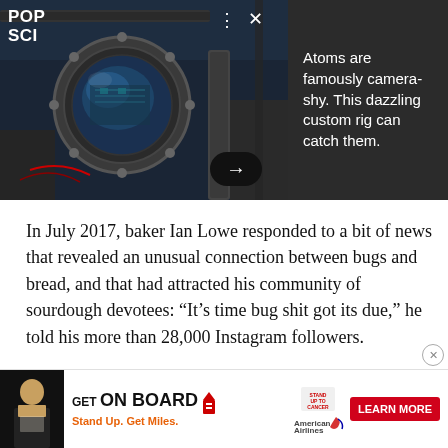[Figure (photo): Laboratory equipment showing a large circular vacuum chamber viewport with bolted flange, scientific instrumentation and optical components, lit in blue-green tones]
POP SCI
Atoms are famously camera-shy. This dazzling custom rig can catch them.
In July 2017, baker Ian Lowe responded to a bit of news that revealed an unusual connection between bugs and bread, and that had attracted his community of sourdough devotees: “It’s time bug shit got its due,” he told his more than 28,000 Instagram followers.
Each year, some 50 or so bakers from around the world
[Figure (photo): Advertisement: GET ON BOARD - Stand Up. Get Miles. American Airlines and Stand Up To Cancer promotion with Learn More button]